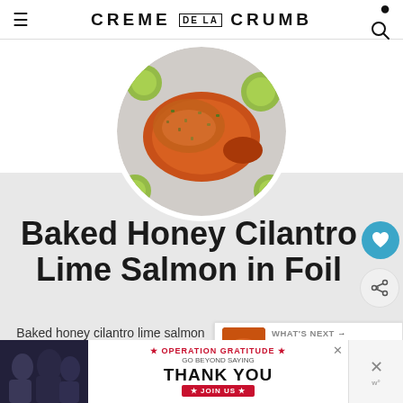CREME DE LA CRUMB
[Figure (photo): Circular photo of baked honey cilantro lime salmon on a baking sheet with lime slices]
Baked Honey Cilantro Lime Salmon in Foil
Baked honey cilantro lime salmon baked in foil to tender, flaky perfection in just 30 minutes with flavorful garlic and honey lime glaze.
[Figure (photo): What's Next thumbnail: Baked Honey Lemon Garli... with small salmon photo]
[Figure (screenshot): Advertisement banner: GO BEYOND SAYING THANK YOU — Operation Gratitude JOIN US]